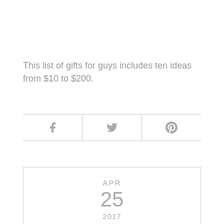This list of gifts for guys includes ten ideas from $10 to $200.
[Figure (other): Social sharing bar with Facebook, Twitter, and Pinterest icons]
APR 25 2017